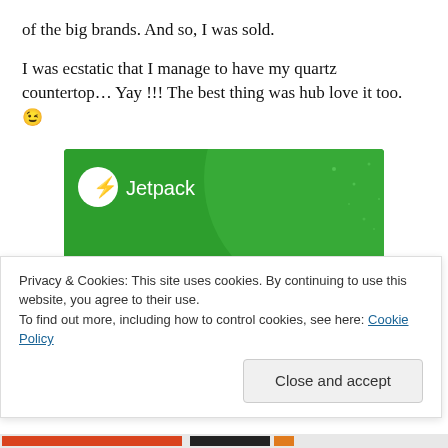of the big brands. And so, I was sold.
I was ecstatic that I manage to have my quartz countertop… Yay !!! The best thing was hub love it too. 😉
[Figure (screenshot): Jetpack advertisement banner with green background showing text: 'The best real-time WordPress backup plugin' with Jetpack logo at top left.]
Privacy & Cookies: This site uses cookies. By continuing to use this website, you agree to their use.
To find out more, including how to control cookies, see here: Cookie Policy
Close and accept